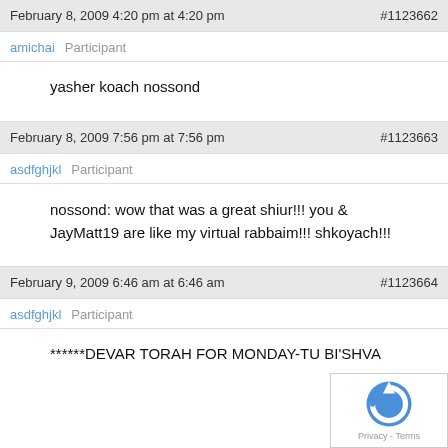February 8, 2009 4:20 pm at 4:20 pm   #1123662
amichai   Participant
yasher koach nossond
February 8, 2009 7:56 pm at 7:56 pm   #1123663
asdfghjkl   Participant
nossond: wow that was a great shiur!!! you & JayMatt19 are like my virtual rabbaim!!! shkoyach!!!
February 9, 2009 6:46 am at 6:46 am   #1123664
asdfghjkl   Participant
******DEVAR TORAH FOR MONDAY-TU BI'SHVA